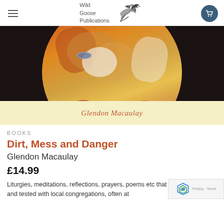Wild Goose Publications
[Figure (illustration): Book cover painting showing hands holding a baby, with warm red, yellow and orange tones on a dark background, partially circular composition. Below the painting is a cream/yellow band with the author name 'Glendon Macaulay' in terracotta/orange italic text.]
Glendon Macaulay
BOOKS
Dirt, Mess and Danger
Glendon Macaulay
£14.99
Liturgies, meditations, reflections, prayers, poems etc that have been tried and tested with local congregations, often at